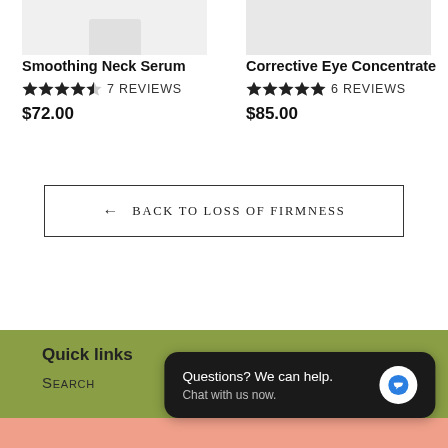[Figure (photo): Product image for Smoothing Neck Serum - small container on white/light gray background]
[Figure (photo): Product image for Corrective Eye Concentrate - on light gray background]
Smoothing Neck Serum
★★★★½ 7 REVIEWS
$72.00
Corrective Eye Concentrate
★★★★★ 6 REVIEWS
$85.00
← BACK TO LOSS OF FIRMNESS
Quick links
Search
Questions? We can help. Chat with us now.